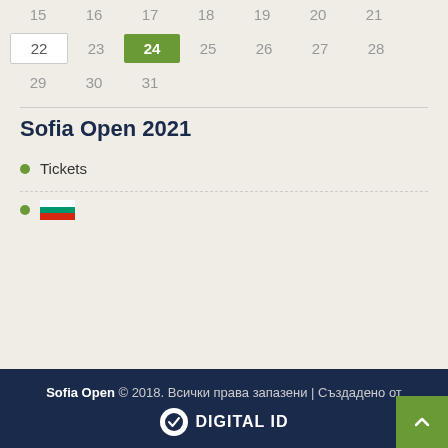[Figure (other): Calendar partial view showing dates 15-31 with date 24 highlighted in green and date 22 boxed]
Sofia Open 2021
Tickets
[Figure (other): Bulgarian flag icon]
Sofia Open © 2018. Всички права запазени | Създадено от DIGITAL ID